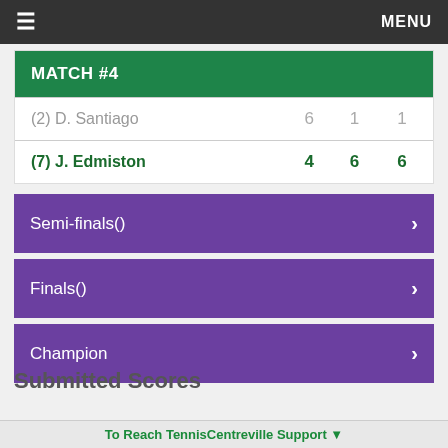≡  MENU
| MATCH #4 |  |  |  |
| --- | --- | --- | --- |
| (2) D. Santiago | 6 | 1 | 1 |
| (7) J. Edmiston | 4 | 6 | 6 |
Semi-finals()  >
Finals()  >
Champion  >
Submitted Scores
To Reach TennisCentreville Support ▼